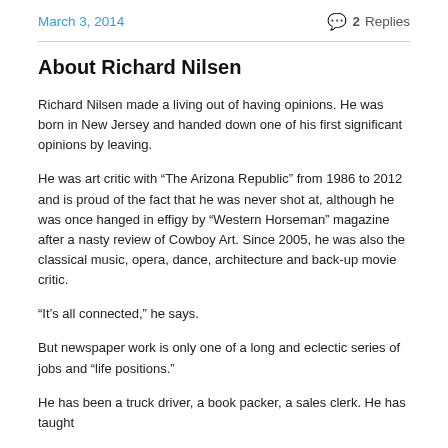March 3, 2014   2 Replies
About Richard Nilsen
Richard Nilsen made a living out of having opinions. He was born in New Jersey and handed down one of his first significant opinions by leaving.
He was art critic with “The Arizona Republic” from 1986 to 2012 and is proud of the fact that he was never shot at, although he was once hanged in effigy by “Western Horseman” magazine after a nasty review of Cowboy Art. Since 2005, he was also the classical music, opera, dance, architecture and back-up movie critic.
“It’s all connected,” he says.
But newspaper work is only one of a long and eclectic series of jobs and “life positions.”
He has been a truck driver, a book packer, a sales clerk. He has taught